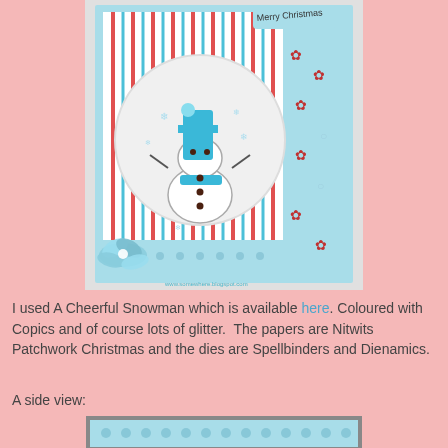[Figure (photo): A handmade Christmas card featuring a cheerful snowman stamped image in a circle, with blue and red patterned papers, a blue fabric flower decoration, and a 'Merry Christmas' banner. The snowman wears a blue hat and scarf with snowflakes around it.]
I used A Cheerful Snowman which is available here. Coloured with Copics and of course lots of glitter.  The papers are Nitwits Patchwork Christmas and the dies are Spellbinders and Dienamics.
A side view:
[Figure (photo): A side view of the handmade Christmas card showing the card's layers and dimensional elements from the side angle, with blue polka dot paper visible.]